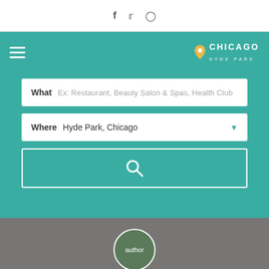f  ✦  𝕥  📷
[Figure (screenshot): Navigation bar with hamburger menu on left and Chicago Hyde Park logo on right]
What  Ex: Restaurant, Beauty Salon & Spas, Health Club
Where  Hyde Park, Chicago
[Figure (other): Search button with magnifying glass icon]
[Figure (photo): Gray background section with author circle avatar at bottom center]